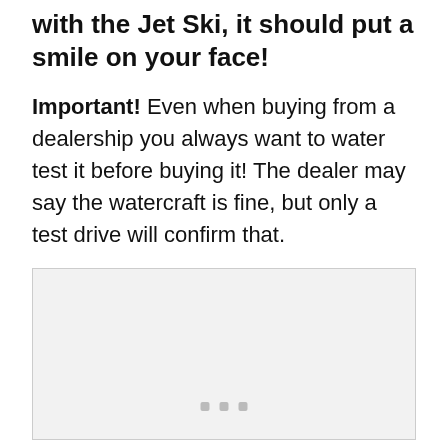with the Jet Ski, it should put a smile on your face!
Important! Even when buying from a dealership you always want to water test it before buying it! The dealer may say the watercraft is fine, but only a test drive will confirm that.
[Figure (photo): Placeholder image area with three small dots at the bottom center, representing a media/video embed placeholder.]